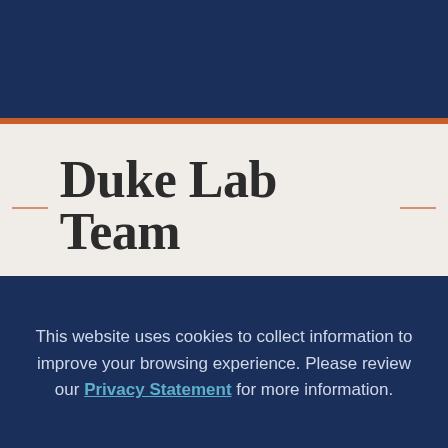Duke Lab Team
This website uses cookies to collect information to improve your browsing experience. Please review our Privacy Statement for more information.